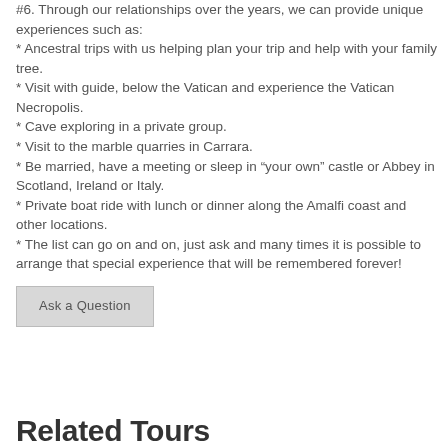#6. Through our relationships over the years, we can provide unique experiences such as:
* Ancestral trips with us helping plan your trip and help with your family tree.
* Visit with guide, below the Vatican and experience the Vatican Necropolis.
* Cave exploring in a private group.
* Visit to the marble quarries in Carrara.
* Be married, have a meeting or sleep in “your own” castle or Abbey in Scotland, Ireland or Italy.
* Private boat ride with lunch or dinner along the Amalfi coast and other locations.
* The list can go on and on, just ask and many times it is possible to arrange that special experience that will be remembered forever!
Ask a Question
Related Tours